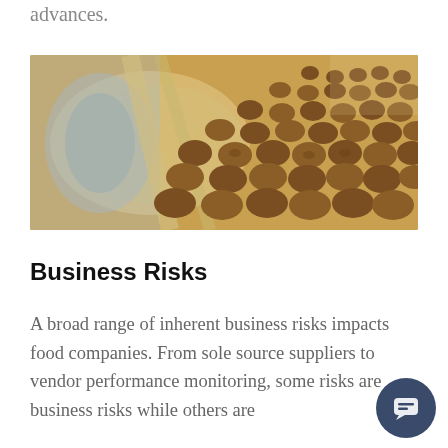advances.
[Figure (photo): Cookies on a conveyor belt in a food manufacturing facility, showing rows of baked round cookies moving along an industrial production line.]
Business Risks
A broad range of inherent business risks impacts food companies. From sole source suppliers to vendor performance monitoring, some risks are business risks while others are